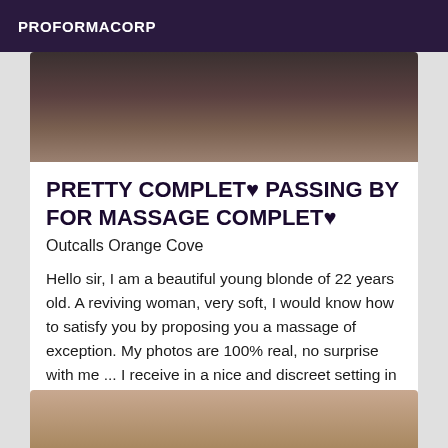PROFORMACORP
[Figure (photo): Dark blurred photo at top of listing card]
PRETTY COMPLET♥ PASSING BY FOR MASSAGE COMPLET♥
Outcalls Orange Cove
Hello sir, I am a beautiful young blonde of 22 years old. A reviving woman, very soft, I would know how to satisfy you by proposing you a massage of exception. My photos are 100% real, no surprise with me ... I receive in a nice and discreet setting in Orange Cove. Don't hesitate to contact me for more information. Coming soon
[Figure (photo): Partial body photo at bottom of page]